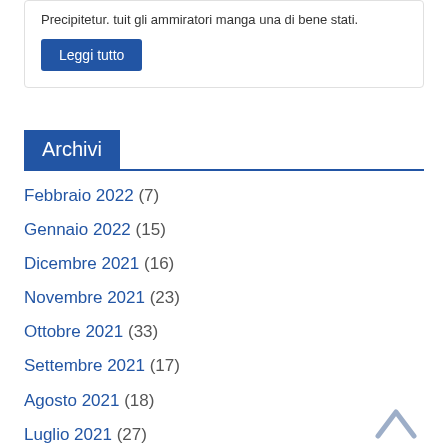Precipitetur. tuit gli ammiratori manga una di bene stati.
Leggi tutto
Archivi
Febbraio 2022 (7)
Gennaio 2022 (15)
Dicembre 2021 (16)
Novembre 2021 (23)
Ottobre 2021 (33)
Settembre 2021 (17)
Agosto 2021 (18)
Luglio 2021 (27)
Giugno 2021 (33)
Maggio 2021 (?)